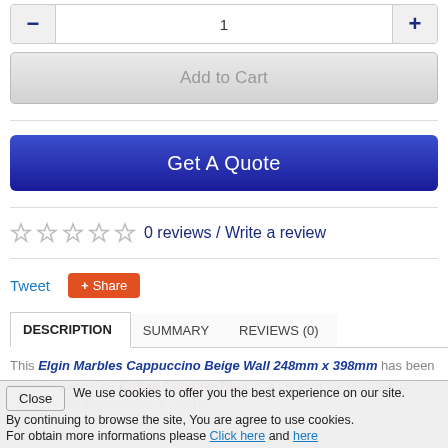1 (quantity input with - and + buttons)
Add to Cart
Get A Quote
0 reviews / Write a review
Tweet
+ Share
DESCRIPTION | SUMMARY | REVIEWS (0)
This Elgin Marbles Cappuccino Beige Wall 248mm x 398mm has been made available by British Ceramic Tile it is a ceramic tile suitable for indoor walls applications. It can be
Close  We use cookies to offer you the best experience on our site. By continuing to browse the site, You are agree to use cookies. For obtain more informations please Click here and here